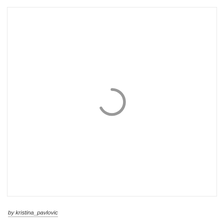[Figure (other): A loading spinner icon (partial circle arc) centered on a white background, rendered in gray. The spinner appears as a thick curved arc open on the left side.]
by kristina_pavlovic